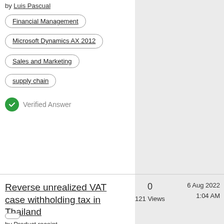by Luis Pascual
Financial Management
Microsoft Dynamics AX 2012
Sales and Marketing
supply chain
Verified Answer
Reverse unrealized VAT case withholding tax in Thailand
by Product receipt...
0
121 Views
6 Aug 2022
1:04 AM